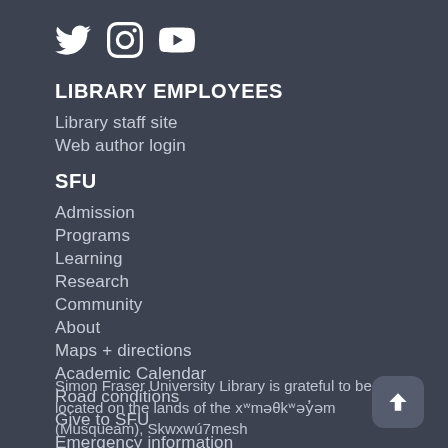[Figure (illustration): Social media icons: Twitter bird, Instagram camera, YouTube play button]
LIBRARY EMPLOYEES
Library staff site
Web author login
SFU
Admission
Programs
Learning
Research
Community
About
Maps + directions
Academic Calendar
Road conditions
Give to SFU
Emergency information
Simon Fraser University Library is grateful to be located on the lands of the xʷməθkʷəy̓əm (Musqueam), Skwxwú7mesh